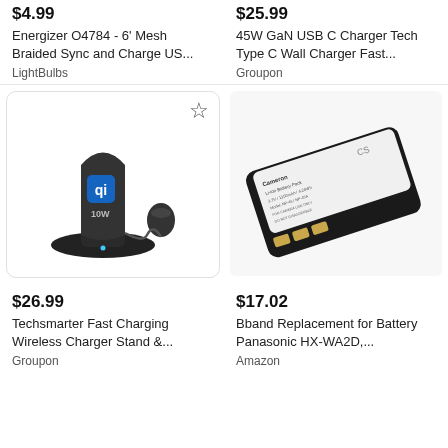$4.99
Energizer O4784 - 6' Mesh Braided Sync and Charge US...
LightBulbs
$25.99
45W GaN USB C Charger Tech Type C Wall Charger Fast...
Groupon
[Figure (photo): Wireless charging stand with Qi logo and 10W label, with a USB cable and small adapter, shown on white background with a star/bookmark icon]
[Figure (photo): Camera replacement battery, black, with gold contacts and label text, angled view]
$26.99
Techsmarter Fast Charging Wireless Charger Stand &...
Groupon
$17.02
Bband Replacement for Battery Panasonic HX-WA2D,...
Amazon